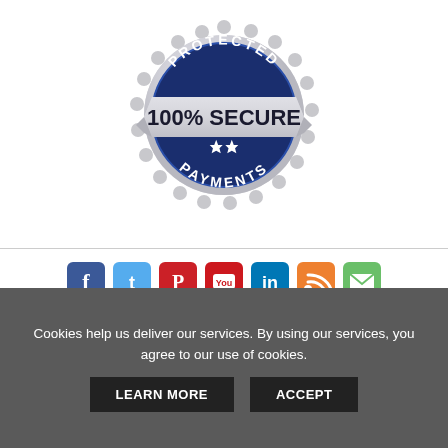[Figure (logo): Circular security badge with scalloped silver edge. Dark blue center circle with 'PROTECTED' text at top arc, three stars, and 'PAYMENTS' text at bottom arc. Silver ribbon across center with bold dark text '100% SECURE'.]
[Figure (infographic): Row of 7 social media icons: Facebook (blue), Twitter (light blue), Pinterest (red), YouTube (red with white play button), LinkedIn (blue), RSS (orange), Email (green).]
Privacy Policy     Terms & Conditions
Cookies help us deliver our services. By using our services, you agree to our use of cookies.
LEARN MORE
ACCEPT